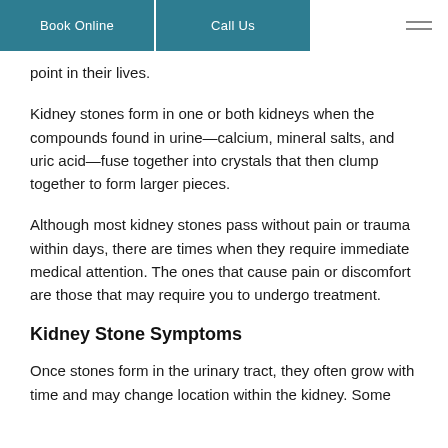Book Online | Call Us
point in their lives.
Kidney stones form in one or both kidneys when the compounds found in urine—calcium, mineral salts, and uric acid—fuse together into crystals that then clump together to form larger pieces.
Although most kidney stones pass without pain or trauma within days, there are times when they require immediate medical attention. The ones that cause pain or discomfort are those that may require you to undergo treatment.
Kidney Stone Symptoms
Once stones form in the urinary tract, they often grow with time and may change location within the kidney. Some